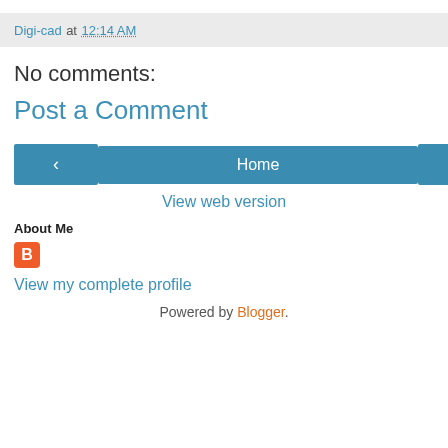Digi-cad at 12:14 AM
No comments:
Post a Comment
Home
View web version
About Me
[Figure (logo): Blogger B icon, orange background]
View my complete profile
Powered by Blogger.